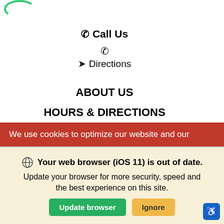[Figure (logo): Partial green circular logo in top-left corner]
📞 Call Us
📞
📍 Directions
ABOUT US
HOURS & DIRECTIONS
FINANCE
INVENTORY
New Vehicles
Pre-Owned
New Car Specials
SELL US YOUR CAR
We use cookies to optimize our website and our
Your web browser (iOS 11) is out of date. Update your browser for more security, speed and the best experience on this site.
Update browser
Ignore